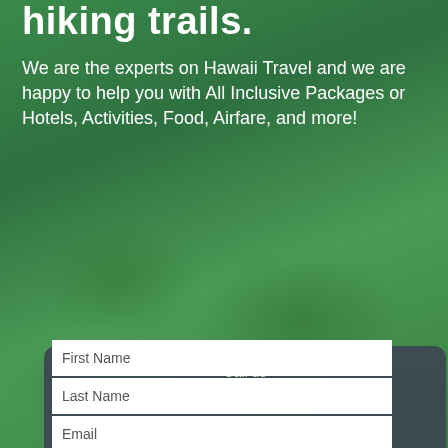hiking trails.
We are the experts on Hawaii Travel and we are happy to help you with All Inclusive Packages or Hotels, Activities, Food, Airfare, and more!
Call us
800.843.8771
Click to Call
First Name
Last Name
Email
Phone